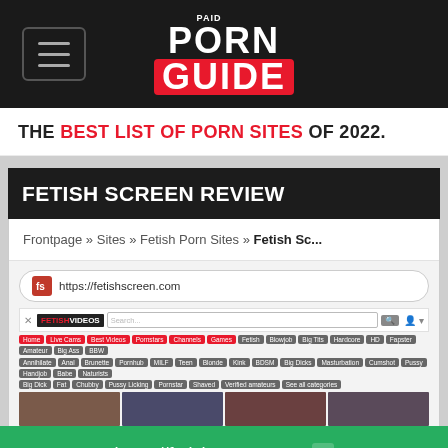Paid Porn Guide
THE BEST LIST OF PORN SITES OF 2022.
[Figure (screenshot): Screenshot of Fetish Screen review page showing site header 'FETISH SCREEN REVIEW', breadcrumb navigation 'Frontpage » Sites » Fetish Porn Sites » Fetish Sc...', address bar with https://fetishscreen.com, and the website's own navigation and thumbnail previews.]
https://fetishscreen.com